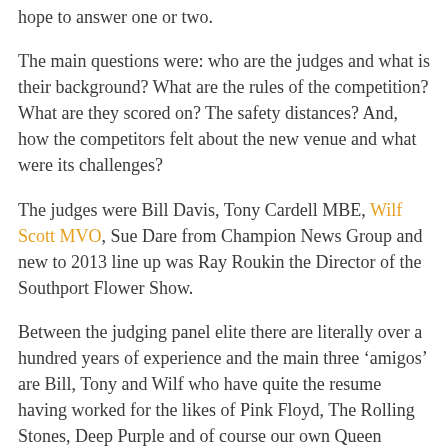hope to answer one or two.
The main questions were: who are the judges and what is their background? What are the rules of the competition? What are they scored on? The safety distances? And, how the competitors felt about the new venue and what were its challenges?
The judges were Bill Davis, Tony Cardell MBE, Wilf Scott MVO, Sue Dare from Champion News Group and new to 2013 line up was Ray Roukin the Director of the Southport Flower Show.
Between the judging panel elite there are literally over a hundred years of experience and the main three ‘amigos’ are Bill, Tony and Wilf who have quite the resume having worked for the likes of Pink Floyd, The Rolling Stones, Deep Purple and of course our own Queen Elizabeth to name a tiny handful of clients. They have each owned their own firework display companies and competed all over the World so they